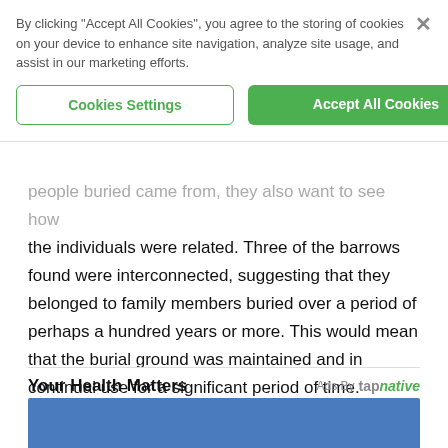By clicking “Accept All Cookies”, you agree to the storing of cookies on your device to enhance site navigation, analyze site usage, and assist in our marketing efforts.
Cookies Settings
Accept All Cookies
people buried came from, they also want to see how the individuals were related. Three of the barrows found were interconnected, suggesting that they belonged to family members buried over a period of perhaps a hundred years or more. This would mean that the burial ground was maintained and in continual use for a significant period of time.
Your Health Matters
Ads By tapnative
[Figure (photo): Bottom portion of a photo showing a person in a blue top, cropped at top of page.]